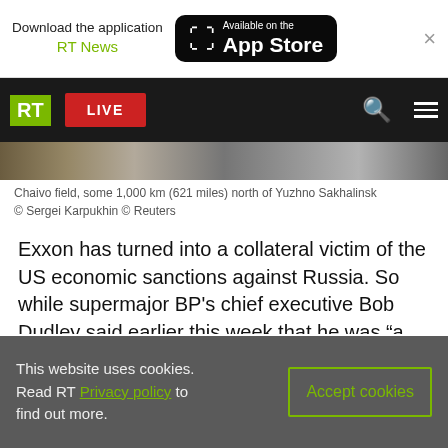Download the application RT News | Available on the App Store
[Figure (screenshot): RT news website navigation bar with green RT logo, red LIVE button, search icon, and hamburger menu on black background]
[Figure (photo): Photo strip of Chaivo field]
Chaivo field, some 1,000 km (621 miles) north of Yuzhno Sakhalinsk
© Sergei Karpukhin © Reuters
Exxon has turned into a collateral victim of the US economic sanctions against Russia. So while supermajor BP's chief executive Bob Dudley said earlier this week that he was "a little saddened" with the way the Deepwater Horizon movie has painted his company, Exxon's Rex Tillerson has perhaps an even greater reason to be a little saddened.
This website uses cookies. Read RT Privacy policy to find out more. | Accept cookies